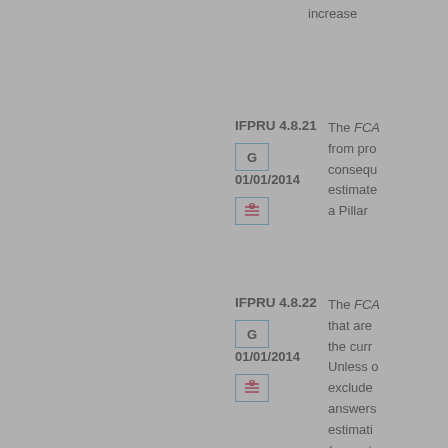increase
IFPRU 4.8.21
G
01/01/2014
The FCA from pro consequence estimate a Pillar
IFPRU 4.8.22
G
01/01/2014
The FCA that are the curr Unless exclude answers estimati (see art